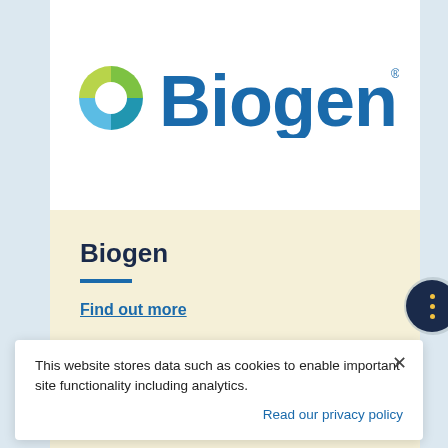[Figure (logo): Biogen logo with colorful globe icon on the left and large blue 'Biogen' wordmark on the right]
Biogen
Find out more
This website stores data such as cookies to enable important site functionality including analytics.
Read our privacy policy